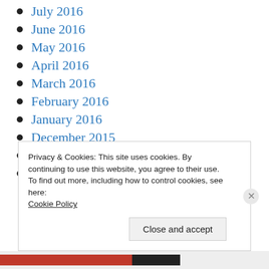July 2016
June 2016
May 2016
April 2016
March 2016
February 2016
January 2016
December 2015
November 2015
October 2015
Privacy & Cookies: This site uses cookies. By continuing to use this website, you agree to their use.
To find out more, including how to control cookies, see here:
Cookie Policy
Close and accept